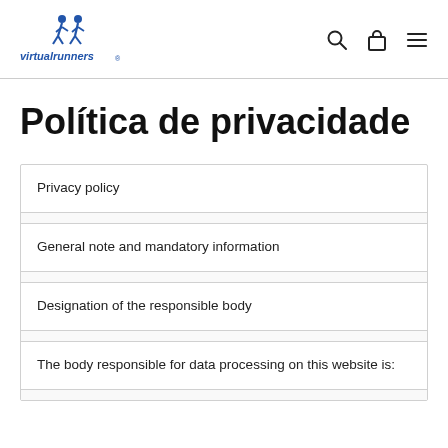virtualrunners
Política de privacidade
Privacy policy
General note and mandatory information
Designation of the responsible body
The body responsible for data processing on this website is: